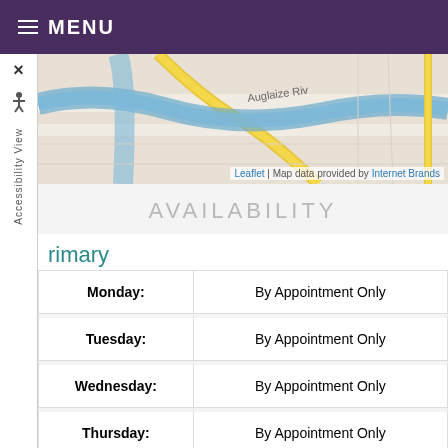≡ MENU
[Figure (map): Street map showing Auglaize River area with road overlays in yellow and blue water features]
Leaflet | Map data provided by Internet Brands
AVAILABILITY
rimary
| Day | Availability |
| --- | --- |
| Monday: | By Appointment Only |
| Tuesday: | By Appointment Only |
| Wednesday: | By Appointment Only |
| Thursday: | By Appointment Only |
| Friday: | Closed |
| Saturday: | Closed |